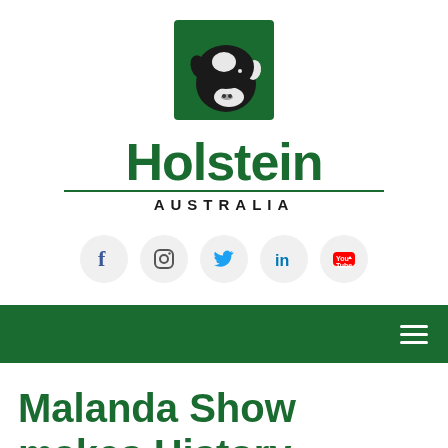[Figure (logo): Holstein Australia logo: black and white cow head on green background, with large green bold 'Holstein' text, a horizontal divider line, and 'AUSTRALIA' in spaced caps beneath]
[Figure (infographic): Row of five social media icons in circular light grey buttons: Facebook (f), Instagram (camera), Twitter (bird), LinkedIn (in), YouTube (play button)]
[Figure (infographic): Dark green navigation bar with hamburger menu icon (three horizontal lines) on the right side]
Malanda Show makes History